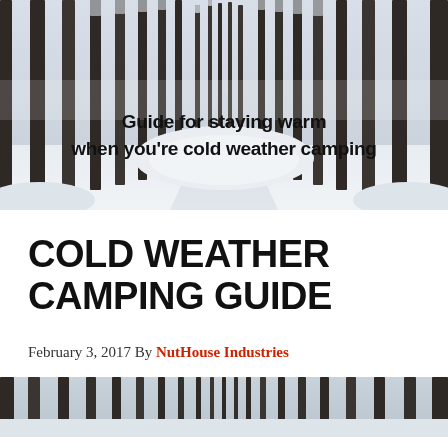[Figure (photo): Winter forest scene with snow-covered ground and trees forming a path, with overlaid text: 'Guide for staying warm when you're cold weather camping']
COLD WEATHER CAMPING GUIDE
February 3, 2017 By NutHouse Industries
[Figure (photo): Partial winter forest scene at bottom of page]